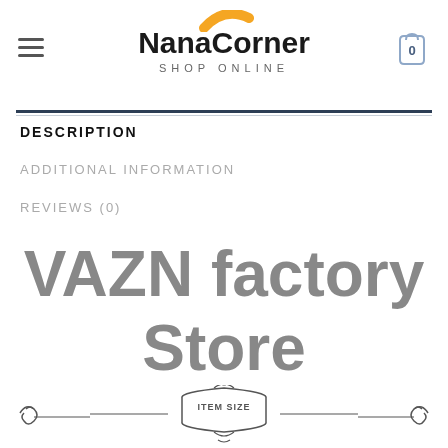NanaCorner SHOP ONLINE
DESCRIPTION
ADDITIONAL INFORMATION
REVIEWS (0)
VAZN factory Store
[Figure (illustration): Decorative banner with ornamental scrollwork on left and right sides and a central badge reading ITEM SIZE]